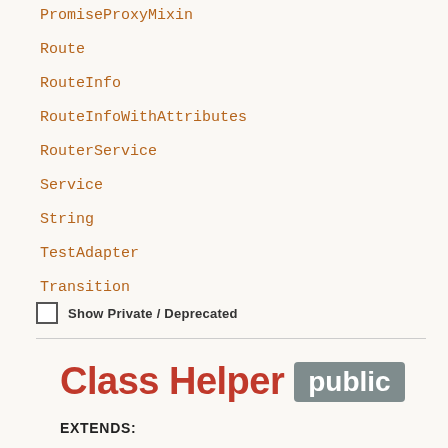PromiseProxyMixin
Route
RouteInfo
RouteInfoWithAttributes
RouterService
Service
String
TestAdapter
Transition
Show Private / Deprecated
Class Helper public
EXTENDS:
CoreObject
DEFINED IN: